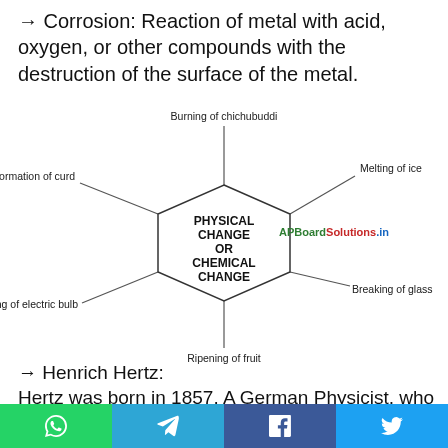→ Corrosion: Reaction of metal with acid, oxygen, or other compounds with the destruction of the surface of the metal.
[Figure (other): Hexagonal diagram showing PHYSICAL CHANGE OR CHEMICAL CHANGE in the center with six labels around it: Burning of chichubuddi (top), Melting of ice (top-right), Breaking of glass (bottom-right), Ripening of fruit (bottom), Glowing of electric bulb (bottom-left), Formation of curd (top-left). APBoardSolutions.in watermark in green and red on the right.]
→ Henrich Hertz:
Hertz was born in 1857. A German Physicist, who proved that electromagnetic waves take